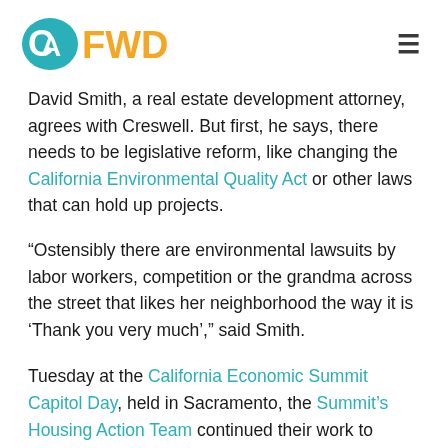CAFWD
David Smith, a real estate development attorney, agrees with Creswell. But first, he says, there needs to be legislative reform, like changing the California Environmental Quality Act or other laws that can hold up projects.
“Ostensibly there are environmental lawsuits by labor workers, competition or the grandma across the street that likes her neighborhood the way it is ‘Thank you very much’,” said Smith.
Tuesday at the California Economic Summit Capitol Day, held in Sacramento, the Summit’s Housing Action Team continued their work to alleviate rental woes, emphasizing the importance of growing housing stock and affordability.